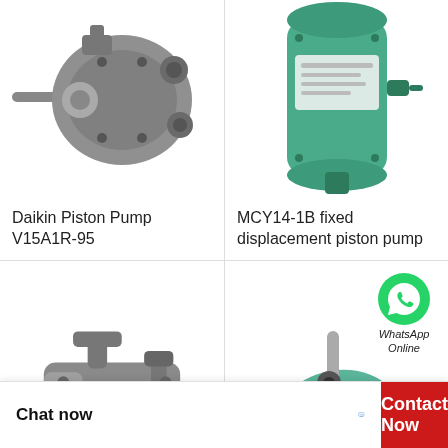[Figure (photo): Daikin Piston Pump V15A1R-95, gray metal hydraulic piston pump photographed from the side]
Daikin Piston Pump V15A1R-95
[Figure (photo): MCY14-1B fixed displacement piston pump, green cylindrical hydraulic pump]
MCY14-1B fixed displacement piston pump
[Figure (photo): Large gray hydraulic piston pump, side view showing ports and shaft]
[Figure (photo): Green/teal hydraulic piston pump with WhatsApp Online overlay in top right corner]
WhatsApp Online
Chat now
Contact Now